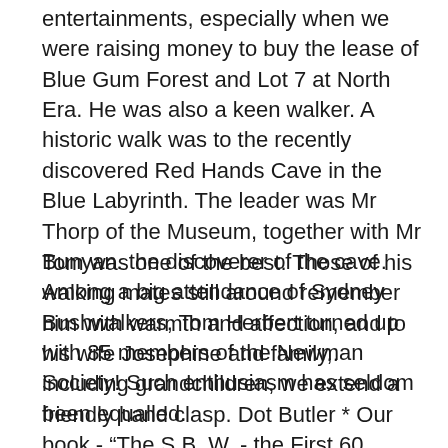entertainments, especially when we were raising money to buy the lease of Blue Gum Forest and Lot 7 at North Era. He was also a keen walker. A historic walk was to the recently discovered Red Hands Cave in the Blue Labyrinth. The leader was Mr Thorp of the Museum, together with Mr Bunyan. the discoverer of the cave. Among a big attendance of Sydney Bushwalkers, Tom Herbert turned up with 85 members of the Newman Society! Such enthusiasm has seldom been equalled.
Tom was one of the best. Those of his walking mates still around remember him with warmth and affection, and to his wife Josephine and family,. including grandchildren, we extend a friendly hand clasp. Dot Butler * Our book - “The S.B,.W. - the First 60 Years” (Page 163) gives tile full story of the investiture of the President Elect and the significance of the bone, which is displayed on the President’s table at General Meetings. PAGE 12 THE SYDNEY BUSHWALKER MARCH 1995 Walk Report Tony Manes Stanwell Park to Burning Palms via the coast,